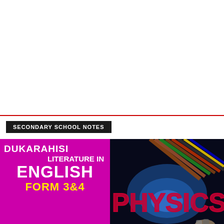[Figure (other): White blank space at top of page]
SECONDARY SCHOOL NOTES
[Figure (illustration): Book cover: DUKARAHISI LITERATURE IN ENGLISH FORM 3&4, magenta/pink background with white and yellow text]
[Figure (photo): Physics book cover showing colored electrical wires and text PHYSICS glowing in pink/red on dark background]